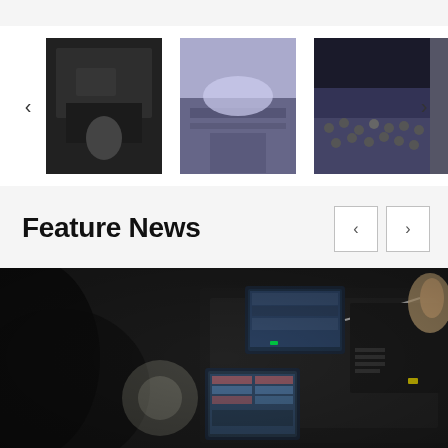[Figure (screenshot): Horizontal image carousel/slideshow with left and right navigation arrows. Shows 4 thumbnail images: a camera operator in a library, a bright event hall, a large crowd audience, and a partially visible 4th image. White background.]
Feature News
[Figure (photo): Close-up photo of a professional video camera in a library setting. The camera has two monitor screens visible. The image is blurred in the foreground with bokeh effect. Black and dark grey tones dominate.]